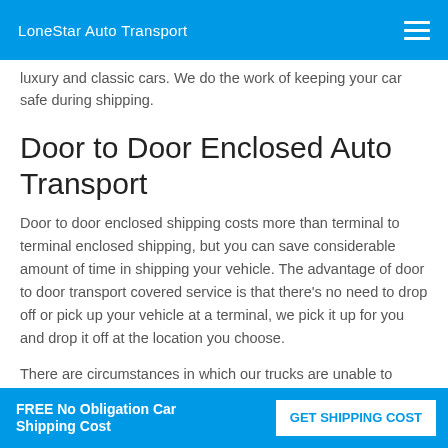LoneStar Auto Transport
luxury and classic cars. We do the work of keeping your car safe during shipping.
Door to Door Enclosed Auto Transport
Door to door enclosed shipping costs more than terminal to terminal enclosed shipping, but you can save considerable amount of time in shipping your vehicle. The advantage of door to door transport covered service is that there's no need to drop off or pick up your vehicle at a terminal, we pick it up for you and drop it off at the location you choose.
There are circumstances in which our trucks are unable to maneuver in certain locations, such as
FREE No Obligation Car Shipping Cost